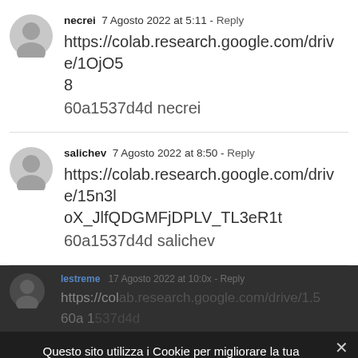necrei  7 Agosto 2022 at 5:11 - Reply
https://colab.research.google.com/drive/1OjO5
8
60a1537d4d necrei
salichev  7 Agosto 2022 at 8:50 - Reply
https://colab.research.google.com/drive/15n3loX_JlfQDGMFjDPLV_TL3eR1t
60a1537d4d salichev
Questo sito utilizza i Cookie per migliorare la tua esperienza di navigazione.
Accetto   Privacy policy